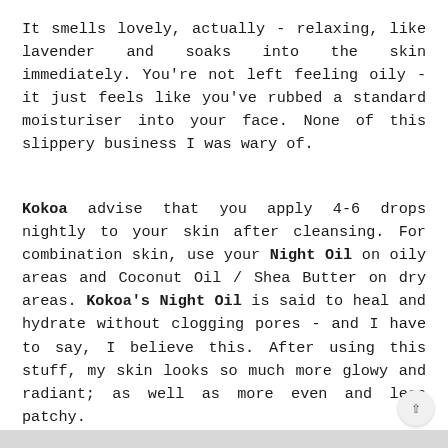It smells lovely, actually - relaxing, like lavender and soaks into the skin immediately. You're not left feeling oily - it just feels like you've rubbed a standard moisturiser into your face. None of this slippery business I was wary of.
Kokoa advise that you apply 4-6 drops nightly to your skin after cleansing. For combination skin, use your Night Oil on oily areas and Coconut Oil / Shea Butter on dry areas. Kokoa's Night Oil is said to heal and hydrate without clogging pores - and I have to say, I believe this. After using this stuff, my skin looks so much more glowy and radiant; as well as more even and less patchy.